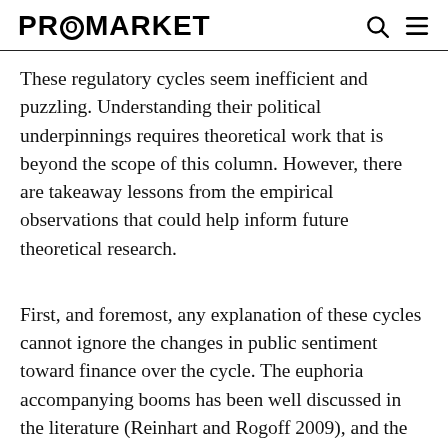PROMARKET
These regulatory cycles seem inefficient and puzzling. Understanding their political underpinnings requires theoretical work that is beyond the scope of this column. However, there are takeaway lessons from the empirical observations that could help inform future theoretical research.
First, and foremost, any explanation of these cycles cannot ignore the changes in public sentiment toward finance over the cycle. The euphoria accompanying booms has been well discussed in the literature (Reinhart and Rogoff 2009), and the political backlash